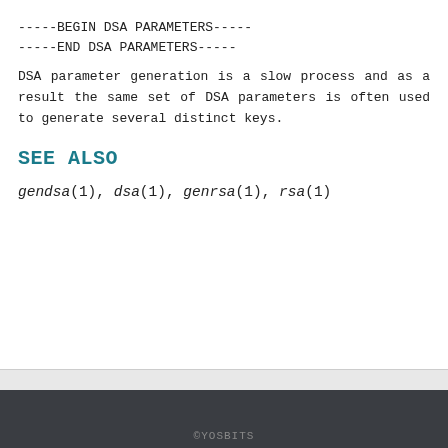-----BEGIN DSA PARAMETERS-----
-----END DSA PARAMETERS-----
DSA parameter generation is a slow process and as a result the same set of DSA parameters is often used to generate several distinct keys.
SEE ALSO
gendsa(1), dsa(1), genrsa(1), rsa(1)
2014-10-15                                        1.0.1j
©YOSBITS